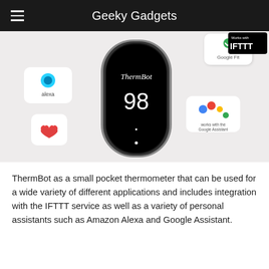Geeky Gadgets
[Figure (photo): ThermBot pocket thermometer device shown with integration logos: Google Fit, IFTTT, Amazon Alexa, Google Assistant, and a heart rate icon. The device displays 'ThermBot' text and a temperature reading on its black screen.]
ThermBot as a small pocket thermometer that can be used for a wide variety of different applications and includes integration with the IFTTT service as well as a variety of personal assistants such as Amazon Alexa and Google Assistant.